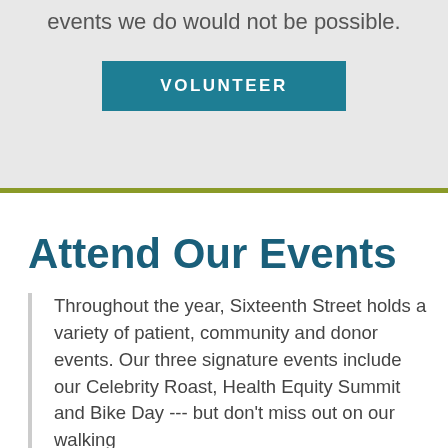events we do would not be possible.
VOLUNTEER
Attend Our Events
Throughout the year, Sixteenth Street holds a variety of patient, community and donor events. Our three signature events include our Celebrity Roast, Health Equity Summit and Bike Day --- but don't miss out on our walking